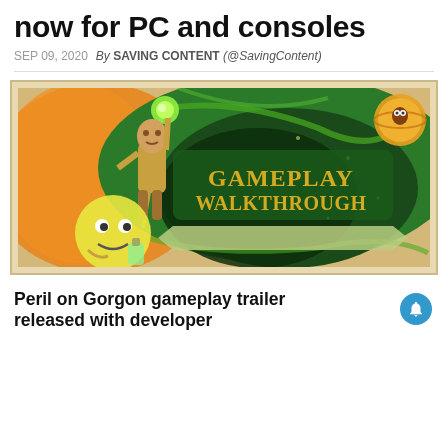now for PC and consoles
SEP 09, 2020  By SAVING CONTENT (@SavingContent)
[Figure (illustration): Gameplay Walkthrough promotional image with retro art style showing a character holding a staff with a green glowing orb and a round-faced character, set against swirling green and orange background. Text reads GAMEPLAY WALKTHROUGH.]
Peril on Gorgon gameplay trailer released with developer